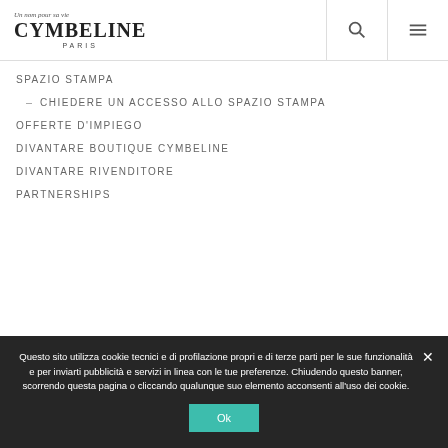Cymbeline Paris — navigation header with search and menu icons
SPAZIO STAMPA
CHIEDERE UN ACCESSO ALLO SPAZIO STAMPA
OFFERTE D'IMPIEGO
DIVANTARE BOUTIQUE CYMBELINE
DIVANTARE RIVENDITORE
PARTNERSHIPS
Questo sito utilizza cookie tecnici e di profilazione propri e di terze parti per le sue funzionalità e per inviarti pubblicità e servizi in linea con le tue preferenze. Chiudendo questo banner, scorrendo questa pagina o cliccando qualunque suo elemento acconsenti all'uso dei cookie.